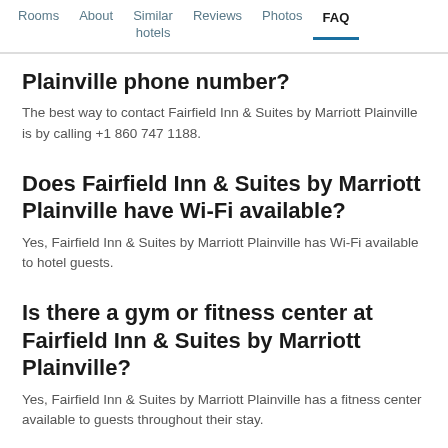Rooms | About | Similar hotels | Reviews | Photos | FAQ
Plainville phone number?
The best way to contact Fairfield Inn & Suites by Marriott Plainville is by calling +1 860 747 1188.
Does Fairfield Inn & Suites by Marriott Plainville have Wi-Fi available?
Yes, Fairfield Inn & Suites by Marriott Plainville has Wi-Fi available to hotel guests.
Is there a gym or fitness center at Fairfield Inn & Suites by Marriott Plainville?
Yes, Fairfield Inn & Suites by Marriott Plainville has a fitness center available to guests throughout their stay.